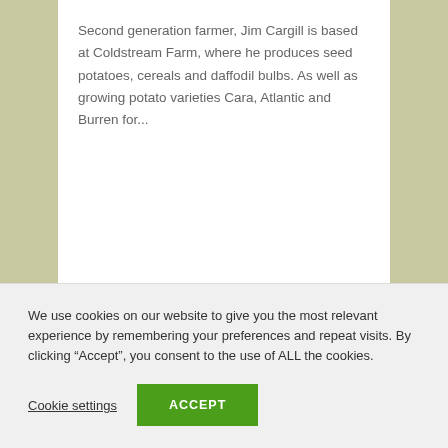Second generation farmer, Jim Cargill is based at Coldstream Farm, where he produces seed potatoes, cereals and daffodil bulbs. As well as growing potato varieties Cara, Atlantic and Burren for...
We use cookies on our website to give you the most relevant experience by remembering your preferences and repeat visits. By clicking “Accept”, you consent to the use of ALL the cookies.
Cookie settings
ACCEPT